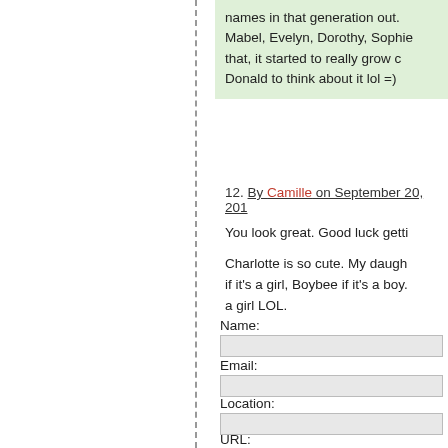names in that generation out. Mabel, Evelyn, Dorothy, Sophie that, it started to really grow c Donald to think about it lol =)
12. By Camille on September 20, 201
You look great. Good luck getti
Charlotte is so cute. My daugh if it's a girl, Boybee if it's a boy. a girl LOL.
Name:
Email:
Location:
URL: http://